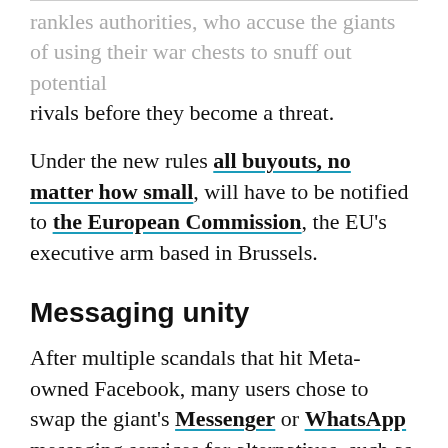rankles authorities, who accuse the giants of using their war chests to snuff out potential rivals before they become a threat.
Under the new rules all buyouts, no matter how small, will have to be notified to the European Commission, the EU's executive arm based in Brussels.
Messaging unity
After multiple scandals that hit Meta-owned Facebook, many users chose to swap the giant's Messenger or WhatsApp messaging services for alternatives, such as Signal or Telegram.
Yet the market power of Meta's services remains